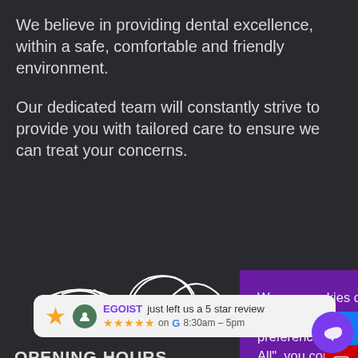We believe in providing dental excellence, within a safe, comfortable and friendly environment.
Our dedicated team will constantly strive to provide you with tailored care to ensure we can treat your concerns.
[Figure (illustration): Handwritten cursive signature or decorative script in white on dark background]
OPENING HOURS
Monday
Tuesday
Wednesday
We use cookies on our website to give you the most relevant experience by remembering your preferences and repeat visits. By clicking "Accept All", you consent to the use of ALL the cookies. However, you may visit "Cookie Settings" to provide a controlled consent.
Cookie Settings
Accept All
[Figure (screenshot): Google review notification: EGOIST just left us a 5 star review, showing star ratings on Google with time 8:30am - 5pm]